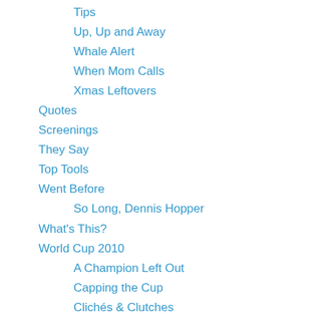Tips
Up, Up and Away
Whale Alert
When Mom Calls
Xmas Leftovers
Quotes
Screenings
They Say
Top Tools
Went Before
So Long, Dennis Hopper
What's This?
World Cup 2010
A Champion Left Out
Capping the Cup
Clichés & Clutches
Color It Splash
Continental Divide
Contrasts
Fantasy Final